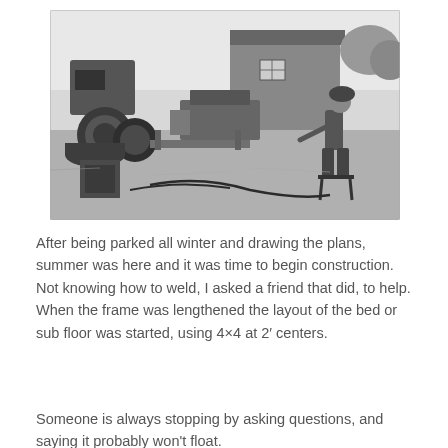[Figure (photo): Black and white photograph showing an outdoor rural scene. On the left, an old truck or vehicle with large tires is visible. In the middle and background, there is a wooden shed or small building. Various equipment and machinery parts are scattered around. On the right, a person is seated on a stool or chair, appearing to be working or examining something. Cables or hoses are on the ground.]
After being parked all winter and drawing the plans, summer was here and it was time to begin construction. Not knowing how to weld, I asked a friend that did, to help. When the frame was lengthened the layout of the bed or sub floor was started, using 4×4 at 2′ centers.
Someone is always stopping by asking questions, and saying it probably won’t float.